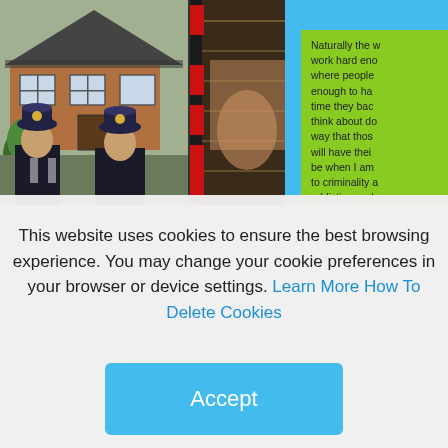[Figure (photo): Two police officers in uniform with distinctive British police helmets (custodian helmets/bobbyheads) standing in front of a brick house with a tile roof and garden.]
[Figure (photo): Close-up photo of a book or printed material with red geometric squares overlaid on the left side, partially obscured.]
Naturally the work hard enough where people enough to ha time they bac think about d way that thos will have thei be when I am to criminality addiction and finances and Media Journa jokes with pe
This website uses cookies to ensure the best browsing experience. You may change your cookie preferences in your browser or device settings. Learn More How To Delete Cookies
Accept